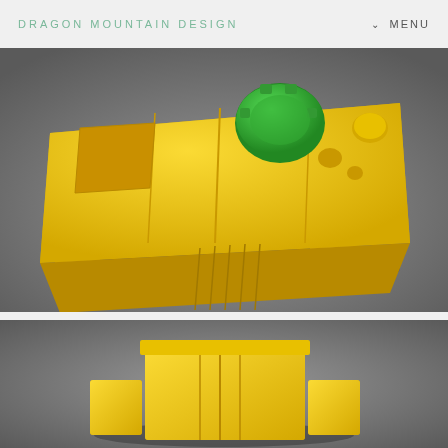DRAGON MOUNTAIN DESIGN | MENU
[Figure (photo): 3D printed yellow plastic object shaped like a small vehicle or box with a green circular top piece, photographed on a gray surface from an angled top-down perspective]
[Figure (photo): Partial view of the same yellow 3D printed object from a different angle showing the front/bottom, photographed on a gray background]